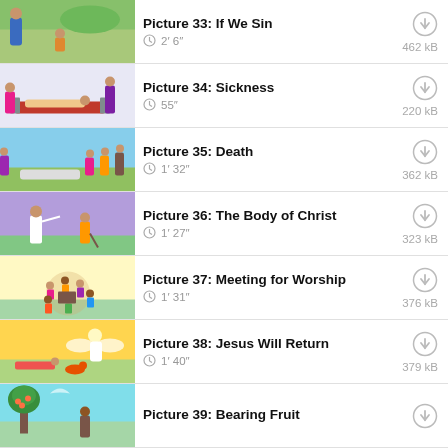Picture 33: If We Sin — 2′ 6″ — 462 kB
Picture 34: Sickness — 55″ — 220 kB
Picture 35: Death — 1′ 32″ — 362 kB
Picture 36: The Body of Christ — 1′ 27″ — 323 kB
Picture 37: Meeting for Worship — 1′ 31″ — 376 kB
Picture 38: Jesus Will Return — 1′ 40″ — 379 kB
Picture 39: Bearing Fruit